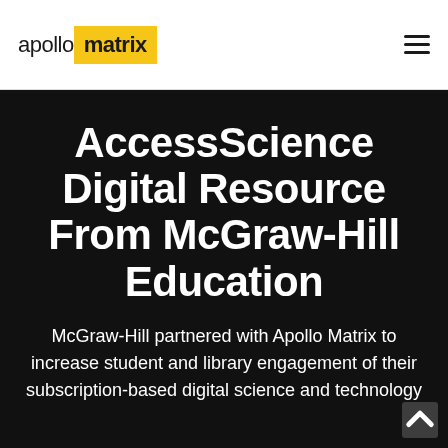apollomatrix
AccessScience Digital Resource From McGraw-Hill Education
McGraw-Hill partnered with Apollo Matrix to increase student and library engagement of their subscription-based digital science and technology